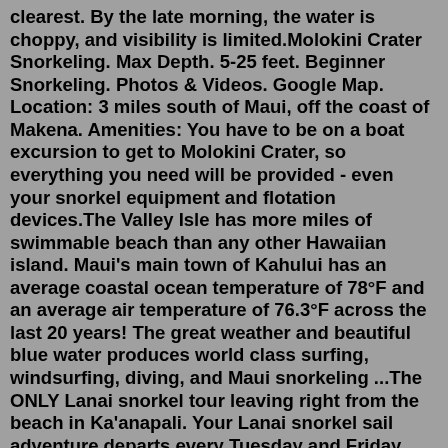clearest. By the late morning, the water is choppy, and visibility is limited.Molokini Crater Snorkeling. Max Depth. 5-25 feet. Beginner Snorkeling. Photos & Videos. Google Map. Location: 3 miles south of Maui, off the coast of Makena. Amenities: You have to be on a boat excursion to get to Molokini Crater, so everything you need will be provided - even your snorkel equipment and flotation devices.The Valley Isle has more miles of swimmable beach than any other Hawaiian island. Maui's main town of Kahului has an average coastal ocean temperature of 78°F and an average air temperature of 76.3°F across the last 20 years! The great weather and beautiful blue water produces world class surfing, windsurfing, diving, and Maui snorkeling ...The ONLY Lanai snorkel tour leaving right from the beach in Ka'anapali. Your Lanai snorkel sail adventure departs every Tuesday and Friday morning. $138 Adults Ages 21+ $118 Teens Ages 13 - 20 $88 Children Ages 3 - 12 Free Young Children Ages 2 and under $6,000 Private Charter. See Maui II 5 Hour. Hi... $5,500 + $500